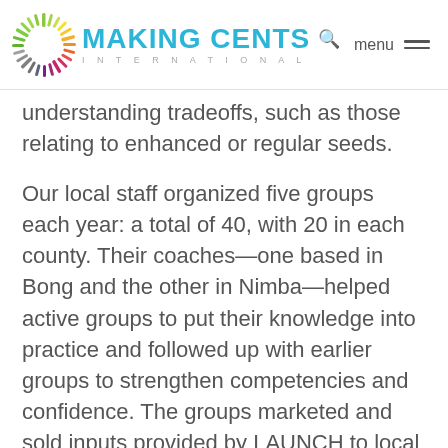MAKING CENTS INTERNATIONAL
understanding tradeoffs, such as those relating to enhanced or regular seeds.
Our local staff organized five groups each year: a total of 40, with 20 in each county. Their coaches—one based in Bong and the other in Nimba—helped active groups to put their knowledge into practice and followed up with earlier groups to strengthen competencies and confidence. The groups marketed and sold inputs provided by LAUNCH to local